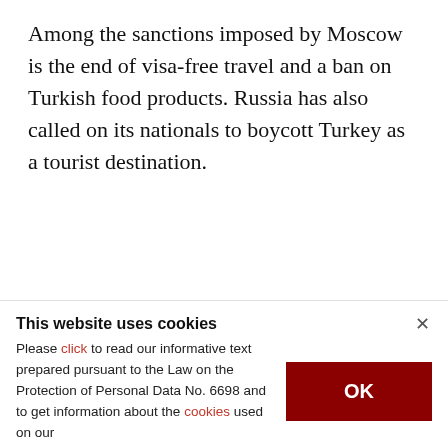Among the sanctions imposed by Moscow is the end of visa-free travel and a ban on Turkish food products. Russia has also called on its nationals to boycott Turkey as a tourist destination.
LAST UPDATE: DEC 01, 2015 10:01 PM
[Figure (infographic): Social share icons: Twitter, Facebook, LinkedIn, email, link/copy]
KEYWORDS
HOMEPAGE
This website uses cookies
Please click to read our informative text prepared pursuant to the Law on the Protection of Personal Data No. 6698 and to get information about the cookies used on our